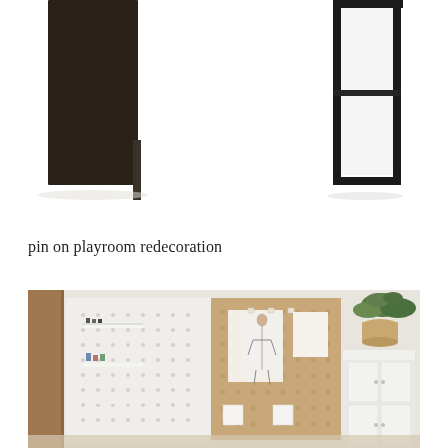[Figure (photo): Product photo of a dark brown/black minimalist desk or table with two panel-style legs visible — one on the left and one on the right against a white background.]
pin on playroom redecoration
[Figure (photo): Interior photo of a room wall with pegboards — white pegboards with hooks and shelves holding small items, and a cork/tan pegboard with fashion sketches pinned to it. A plant and white storage cabinet visible on the right.]